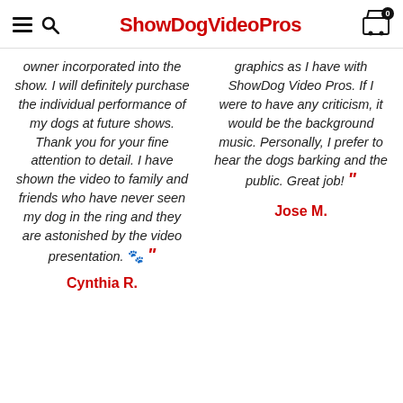ShowDogVideoPros
owner incorporated into the show. I will definitely purchase the individual performance of my dogs at future shows. Thank you for your fine attention to detail. I have shown the video to family and friends who have never seen my dog in the ring and they are astonished by the video presentation. ”
Cynthia R.
graphics as I have with ShowDog Video Pros. If I were to have any criticism, it would be the background music. Personally, I prefer to hear the dogs barking and the public. Great job! ”
Jose M.